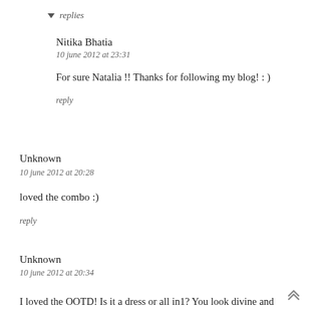▼ replies
Nitika Bhatia
10 june 2012 at 23:31
For sure Natalia !! Thanks for following my blog! : )
reply
Unknown
10 june 2012 at 20:28
loved the combo :)
reply
Unknown
10 june 2012 at 20:34
I loved the OOTD! Is it a dress or all in1? You look divine and…